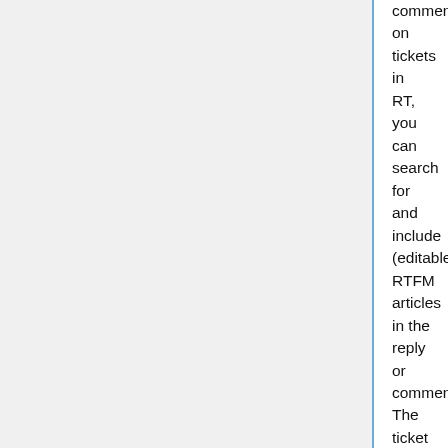comment on tickets in RT, you can search for and include (editable) RTFM articles in the reply or comment. The ticket will now have a new relationship: Refers To (article of your choice). This screen shot shows the relevant part of the Reply or Comment screen, located under Attach in the Message portion of the page:
[Figure (screenshot): [screenshot] placeholder box]
If you know the name or number of the article you'd like to include, enter it in the Include RTFM article text box and click the Go button.
To find an RTFM article to include in the reply or comment, enter a search term in the Search for RTFM articles matching